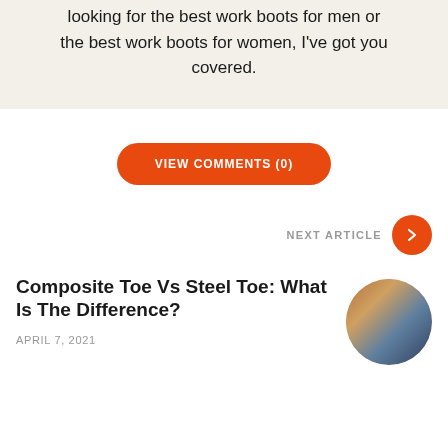looking for the best work boots for men or the best work boots for women, I've got you covered.
VIEW COMMENTS (0)
NEXT ARTICLE
Composite Toe Vs Steel Toe: What Is The Difference?
APRIL 7, 2021